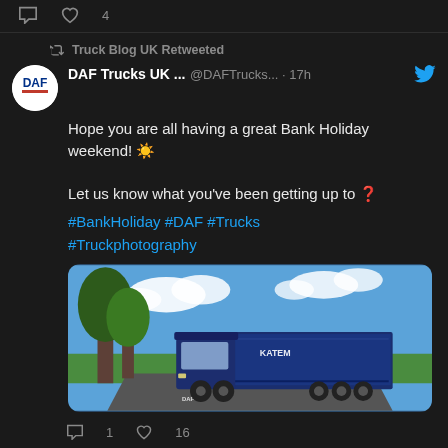[Figure (screenshot): Twitter/social media screenshot showing a retweet by Truck Blog UK of a DAF Trucks UK post about Bank Holiday weekend, with a photo of a blue DAF truck (KATEM branding) on a country road with trees and blue sky. Interaction counts shown: comment 0, like 4 at top; comment 1, like 16 at bottom.]
Truck Blog UK Retweeted
DAF Trucks UK ... @DAFTrucks... · 17h
Hope you are all having a great Bank Holiday weekend! ☀️

Let us know what you've been getting up to ❓
#BankHoliday #DAF #Trucks #Truckphotography